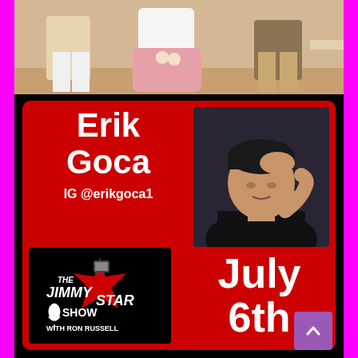[Figure (photo): Top portion showing group of people from waist down in casual clothes]
Erik Goca
IG @erikgoca1
[Figure (photo): Headshot of Erik Goca, young man with dark hair, hand on head, wearing black top]
[Figure (logo): The Jimmy Star Show with Ron Russell logo - black background with red star and TV graphic]
July 6th